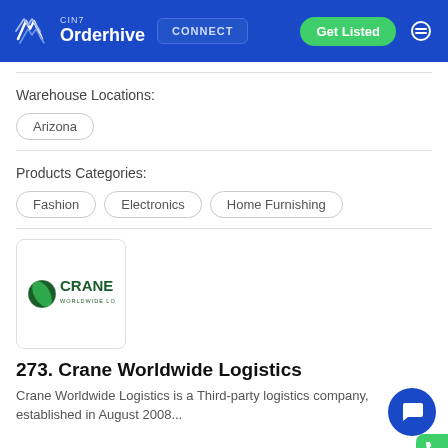CIN7 Orderhive | CONNECT | Get Listed
Warehouse Locations:
Arizona
Products Categories:
Fashion
Electronics
Home Furnishing
[Figure (logo): Crane Worldwide Logistics logo — green globe icon with CRANE text in dark green]
273. Crane Worldwide Logistics
Crane Worldwide Logistics is a Third-party logistics company, established in August 2008...